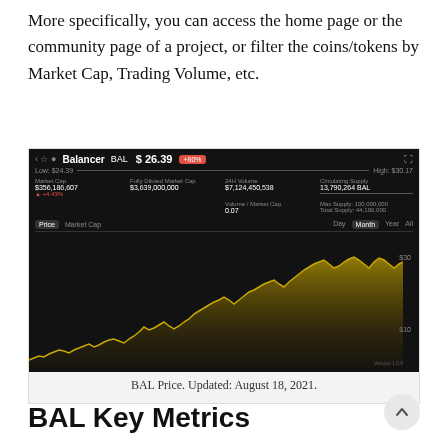More specifically, you can access the home page or the community page of a project, or filter the coins/tokens by Market Cap, Trading Volume, etc.
[Figure (screenshot): Screenshot of CoinGecko showing Balancer (BAL) price chart at $26.39, with market cap, fully diluted market cap, 24H volume, circulating supply metrics, and a gold/yellow area chart showing BAL price history over time. Updated August 18, 2021.]
BAL Price. Updated: August 18, 2021.
BAL Key Metrics